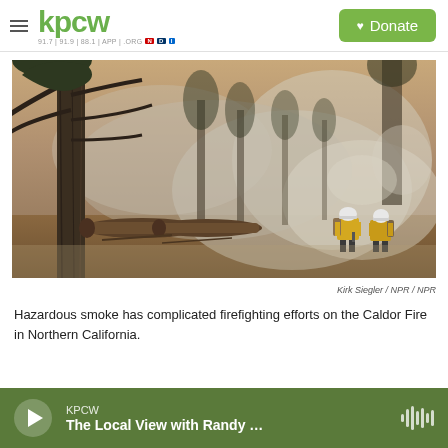kpcw | 91.7 | 91.9 | 88.1 | APP | .ORG | NPR | Donate
[Figure (photo): Two firefighters in yellow gear and white helmets stand amid smoky, haze-filled forest. Tall pine trees are visible through thick grey and orange smoke. Felled logs are on the ground. Scene from the Caldor Fire in Northern California.]
Kirk Siegler / NPR / NPR
Hazardous smoke has complicated firefighting efforts on the Caldor Fire in Northern California.
KPCW — The Local View with Randy …